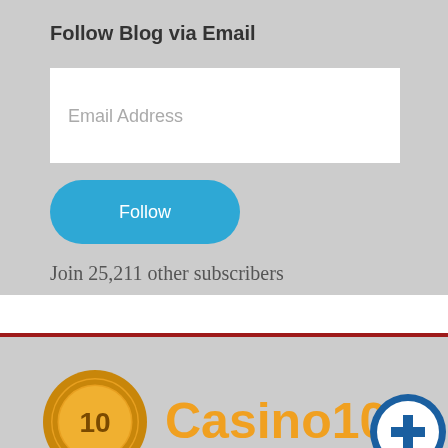Follow Blog via Email
Email Address
Follow
Join 25,211 other subscribers
[Figure (logo): Casino10 logo with a gold coin showing '10' and the text 'Casino10' in orange/gold, along with a partial circular icon to the right]